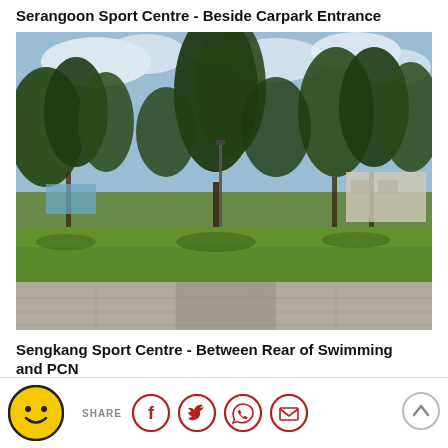Serangoon Sport Centre - Beside Carpark Entrance
[Figure (photo): Outdoor photo showing a green lawn area with tall trees and a paved path/carpark entrance, taken at Serangoon Sport Centre. Blue sky with clouds visible above the trees. A building is visible in the background on the right.]
Sengkang Sport Centre - Between Rear of Swimming and PCN
SHARE [Facebook] [Twitter] [WhatsApp] [Email] [Scroll up]